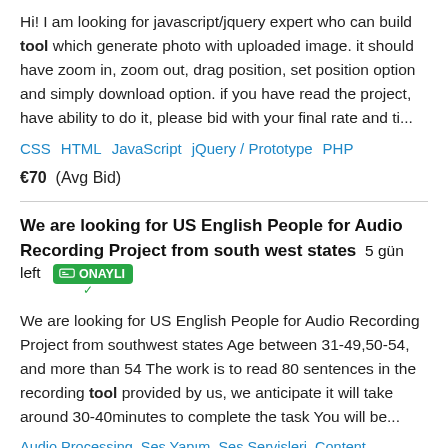Hi! I am looking for javascript/jquery expert who can build tool which generate photo with uploaded image. it should have zoom in, zoom out, drag position, set position option and simply download option. if you have read the project, have ability to do it, please bid with your final rate and ti...
CSS   HTML   JavaScript   jQuery / Prototype   PHP
€70  (Avg Bid)
We are looking for US English People for Audio Recording Project from south west states  5 gün left  ONAYLI
We are looking for US English People for Audio Recording Project from southwest states Age between 31-49,50-54, and more than 54 The work is to read 80 sentences in the recording tool provided by us, we anticipate it will take around 30-40minutes to complete the task You will be...
Audio Processing   Ses Yapım   Ses Servisleri   Content Development   Content Marketing   Content Strategy